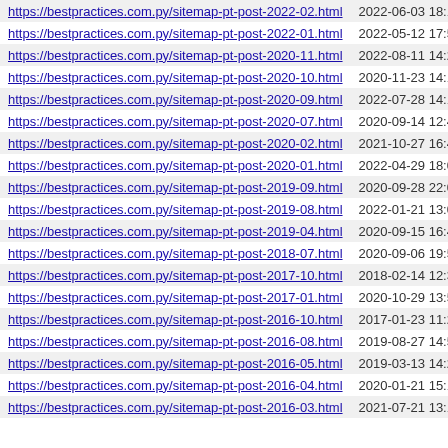| URL | Date |
| --- | --- |
| https://bestpractices.com.py/sitemap-pt-post-2022-02.html | 2022-06-03 18:11 |
| https://bestpractices.com.py/sitemap-pt-post-2022-01.html | 2022-05-12 17:59 |
| https://bestpractices.com.py/sitemap-pt-post-2020-11.html | 2022-08-11 14:20 |
| https://bestpractices.com.py/sitemap-pt-post-2020-10.html | 2020-11-23 14:16 |
| https://bestpractices.com.py/sitemap-pt-post-2020-09.html | 2022-07-28 14:11 |
| https://bestpractices.com.py/sitemap-pt-post-2020-07.html | 2020-09-14 12:43 |
| https://bestpractices.com.py/sitemap-pt-post-2020-02.html | 2021-10-27 16:49 |
| https://bestpractices.com.py/sitemap-pt-post-2020-01.html | 2022-04-29 18:02 |
| https://bestpractices.com.py/sitemap-pt-post-2019-09.html | 2020-09-28 22:03 |
| https://bestpractices.com.py/sitemap-pt-post-2019-08.html | 2022-01-21 13:05 |
| https://bestpractices.com.py/sitemap-pt-post-2019-04.html | 2020-09-15 16:47 |
| https://bestpractices.com.py/sitemap-pt-post-2018-07.html | 2020-09-06 19:50 |
| https://bestpractices.com.py/sitemap-pt-post-2017-10.html | 2018-02-14 12:33 |
| https://bestpractices.com.py/sitemap-pt-post-2017-01.html | 2020-10-29 13:56 |
| https://bestpractices.com.py/sitemap-pt-post-2016-10.html | 2017-01-23 11:28 |
| https://bestpractices.com.py/sitemap-pt-post-2016-08.html | 2019-08-27 14:53 |
| https://bestpractices.com.py/sitemap-pt-post-2016-05.html | 2019-03-13 14:22 |
| https://bestpractices.com.py/sitemap-pt-post-2016-04.html | 2020-01-21 15:13 |
| https://bestpractices.com.py/sitemap-pt-post-2016-03.html | 2021-07-21 13:15 |